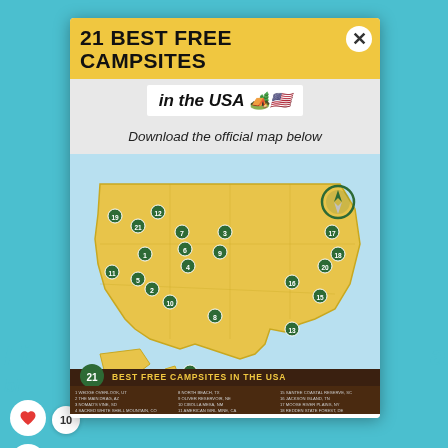21 BEST FREE CAMPSITES in the USA 🏕️🇺🇸
Download the official map below
[Figure (map): Illustrated map of the USA showing 21 numbered best free campsite locations across the country, with small illustrated icons for each campsite. Bottom bar lists: 1 Wedge Overlook, UT 2 The Main Drag, AZ 3 Nomad's Vine, SD 4 Sacred White Shell Mountain, CO 5 North Creek, UT 6 Jackson Hole's Main Road, CO 7 Lake Hattie, WY 8 North Beach, TX 9 Oliver Reservoir, NE 10 Cibolla Mesa, NM 11 American Girl Mine, CA 12 Blankinship Bridge, MT 13 Cypress Creek, FL 14 Green Road, HI 15 Santee Coastal Reserve, SC 16 Jackson Island, TN 17 Moose River Plains, NY 18 Redden State Forest, DE 19 Skull Creek, OR 20 Whiteside Camping Area, MD 21 Lake Creek Road, ID — National Park marker legend]